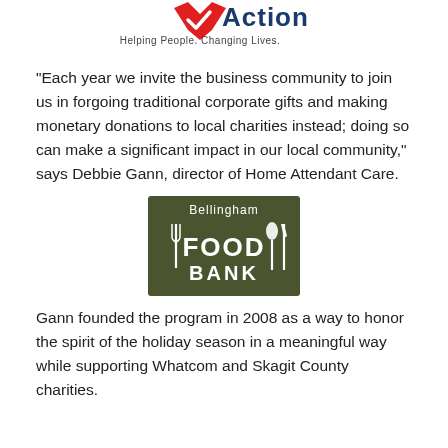[Figure (logo): Opportunity Council Action logo with red heart/checkmark and text 'Helping People. Changing Lives.']
“Each year we invite the business community to join us in forgoing traditional corporate gifts and making monetary donations to local charities instead; doing so can make a significant impact in our local community,” says Debbie Gann, director of Home Attendant Care.
[Figure (logo): Bellingham Food Bank logo on dark olive/green background with fork, knife, and spoon surrounding stylized text 'FOOD BANK']
Gann founded the program in 2008 as a way to honor the spirit of the holiday season in a meaningful way while supporting Whatcom and Skagit County charities.